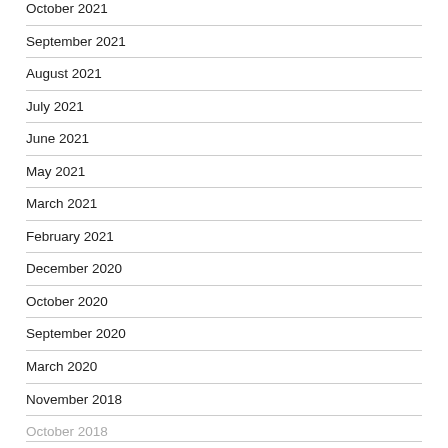October 2021
September 2021
August 2021
July 2021
June 2021
May 2021
March 2021
February 2021
December 2020
October 2020
September 2020
March 2020
November 2018
October 2018